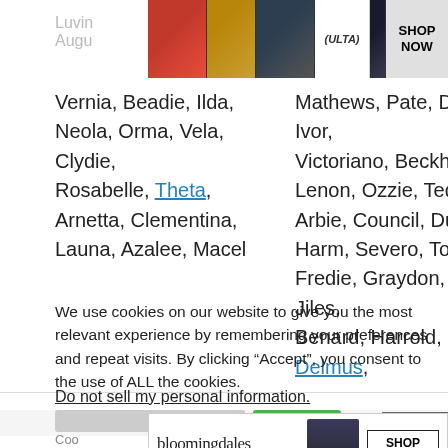[Figure (screenshot): Ulta beauty advertisement banner with makeup images and SHOP NOW button]
Luvin... Augu...
Vernia, Beadie, Ilda, Neola, Orma, Vela, Clydie, Rosabelle, Theta, Arnetta, Clementina, Launa, Azalee, Macel
Mathews, Pate, Doll, Ivor, Victoriano, Beckham, Lenon, Ozzie, Teddie, Arbie, Council, Duard, Harm, Severo, Tobie, Fredie, Graydon, Jiles, Benard, Harrold, Delmus,
We use cookies on our website to give you the most relevant experience by remembering your preferences and repeat visits. By clicking “Accept”, you consent to the use of ALL the cookies.
Do not sell my personal information.
[Figure (screenshot): Bloomingdale's advertisement banner with View Today's Top Deals and SHOP NOW button]
CLOSE